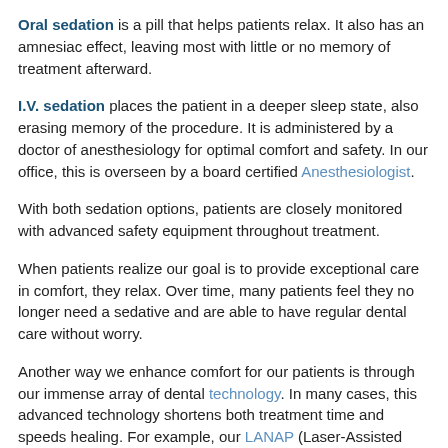Oral sedation is a pill that helps patients relax. It also has an amnesiac effect, leaving most with little or no memory of treatment afterward.
I.V. sedation places the patient in a deeper sleep state, also erasing memory of the procedure. It is administered by a doctor of anesthesiology for optimal comfort and safety. In our office, this is overseen by a board certified Anesthesiologist.
With both sedation options, patients are closely monitored with advanced safety equipment throughout treatment.
When patients realize our goal is to provide exceptional care in comfort, they relax. Over time, many patients feel they no longer need a sedative and are able to have regular dental care without worry.
Another way we enhance comfort for our patients is through our immense array of dental technology. In many cases, this advanced technology shortens both treatment time and speeds healing. For example, our LANAP (Laser-Assisted New Attachment Procedure) provides an advanced protocol to efficiently and effectively treat periodontitis (advanced gum disease).